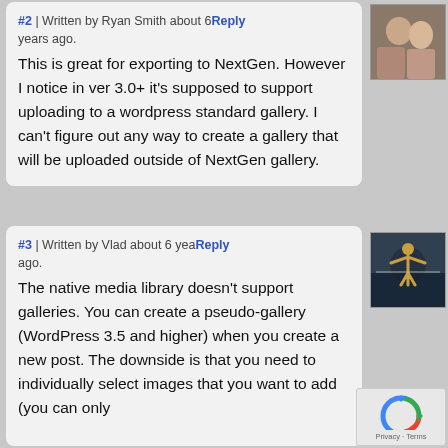#2 | Written by Ryan Smith about 6 years ago.
This is great for exporting to NextGen. However I notice in ver 3.0+ it's supposed to support uploading to a wordpress standard gallery. I can't figure out any way to create a gallery that will be uploaded outside of NextGen gallery.
[Figure (photo): Avatar photo of Ryan Smith - two people posing together]
#3 | Written by Vlad about 6 years ago.
The native media library doesn't support galleries. You can create a pseudo-gallery (WordPress 3.5 and higher) when you create a new post. The downside is that you need to individually select images that you want to add (you can only
[Figure (photo): Avatar photo of Vlad - person with arms raised in silhouette against sky]
[Figure (other): reCAPTCHA widget with Privacy and Terms links]